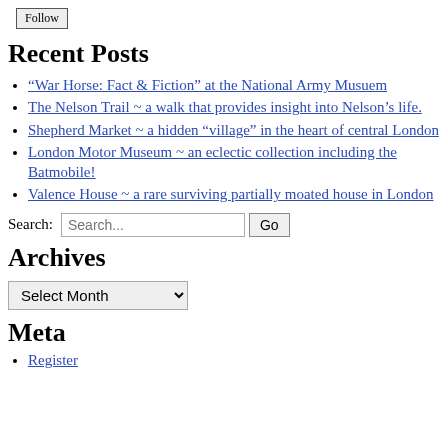Follow
Recent Posts
“War Horse: Fact & Fiction” at the National Army Musuem
The Nelson Trail ~ a walk that provides insight into Nelson’s life.
Shepherd Market ~ a hidden “village” in the heart of central London
London Motor Museum ~ an eclectic collection including the Batmobile!
Valence House ~ a rare surviving partially moated house in London
Search:
Archives
Select Month
Meta
Register